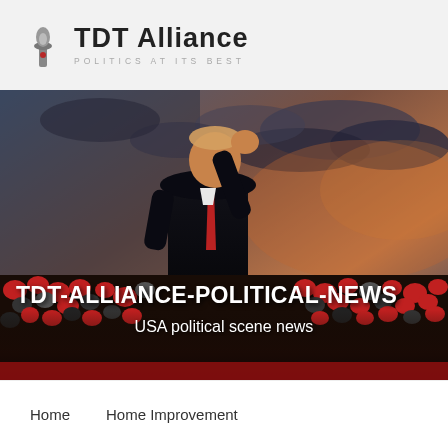[Figure (logo): TDT Alliance logo with torch icon]
TDT Alliance
POLITICS AT ITS BEST
[Figure (photo): Political rally photo showing a figure in a dark suit with red tie raising a fist, surrounded by a crowd wearing red hats, against a dramatic cloudy sky at dusk. Text overlay reads TDT-ALLIANCE-POLITICAL-NEWS and USA political scene news.]
TDT-ALLIANCE-POLITICAL-NEWS
USA political scene news
Home    Home Improvement